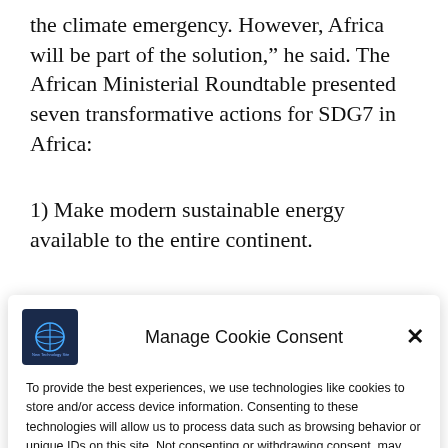the climate emergency. However, Africa will be part of the solution," he said. The African Ministerial Roundtable presented seven transformative actions for SDG7 in Africa:
1) Make modern sustainable energy available to the entire continent.
Manage Cookie Consent

To provide the best experiences, we use technologies like cookies to store and/or access device information. Consenting to these technologies will allow us to process data such as browsing behavior or unique IDs on this site. Not consenting or withdrawing consent, may adversely affect certain features and functions.

Accept